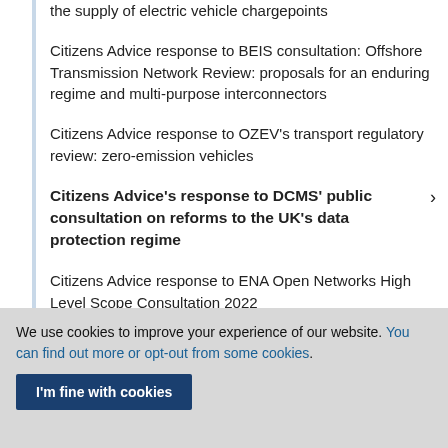the supply of electric vehicle chargepoints
Citizens Advice response to BEIS consultation: Offshore Transmission Network Review: proposals for an enduring regime and multi-purpose interconnectors
Citizens Advice response to OZEV's transport regulatory review: zero-emission vehicles
Citizens Advice's response to DCMS' public consultation on reforms to the UK's data protection regime
Citizens Advice response to ENA Open Networks High Level Scope Consultation 2022
We use cookies to improve your experience of our website. You can find out more or opt-out from some cookies.
I'm fine with cookies